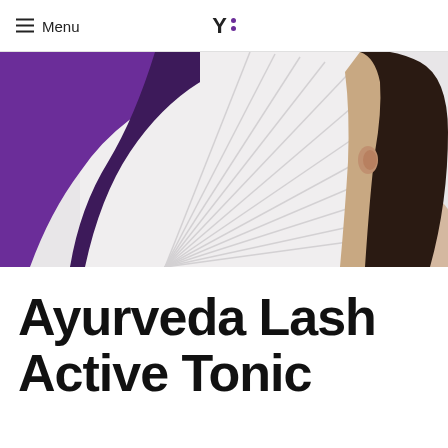Menu | Y:
[Figure (photo): Product photo showing a purple curved corner object and radiating white/silver lines on a light background, with a woman's profile (dark hair, ear visible) on the right side]
Ayurveda Lash Active Tonic